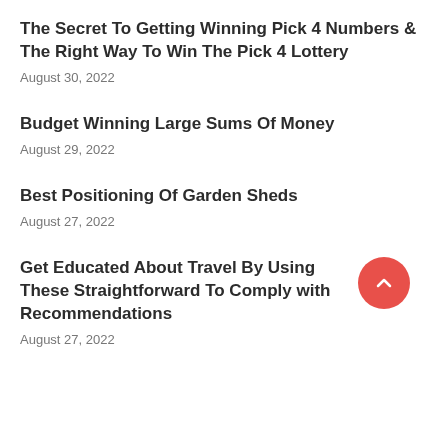The Secret To Getting Winning Pick 4 Numbers & The Right Way To Win The Pick 4 Lottery
August 30, 2022
Budget Winning Large Sums Of Money
August 29, 2022
Best Positioning Of Garden Sheds
August 27, 2022
Get Educated About Travel By Using These Straightforward To Comply with Recommendations
August 27, 2022